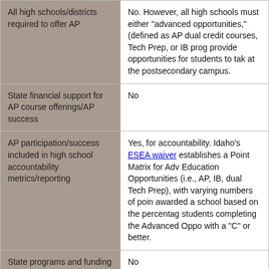| Category | Details |
| --- | --- |
| All high schools/districts required to offer AP | No. However, all high schools must either "advanced opportunities," (defined as AP dual credit courses, Tech Prep, or IB prog provide opportunities for students to tak at the postsecondary campus. |
| State financial support for AP course offerings/AP success | No |
| AP participation/success included in high school accountability metrics/reporting | Yes, for accountability. Idaho's ESEA waiver establishes a Point Matrix for Adv Education Opportunities (i.e., AP, IB, dual Tech Prep), with varying numbers of poin awarded a school based on the percentag students completing the Advanced Oppo with a "C" or better. |
| State programs and funding for teacher training | No |
|  |  |